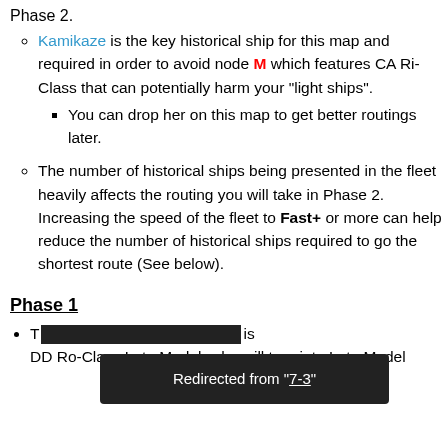Phase 2.
Kamikaze is the key historical ship for this map and required in order to avoid node M which features CA Ri-Class that can potentially harm your "light ships". You can drop her on this map to get better routings later.
The number of historical ships being presented in the fleet heavily affects the routing you will take in Phase 2. Increasing the speed of the fleet to Fast+ or more can help reduce the number of historical ships required to go the shortest route (See below).
Phase 1
T... f... is DD Ro-Class Late Model, who will turn into Late Model
Redirected from "7-3"